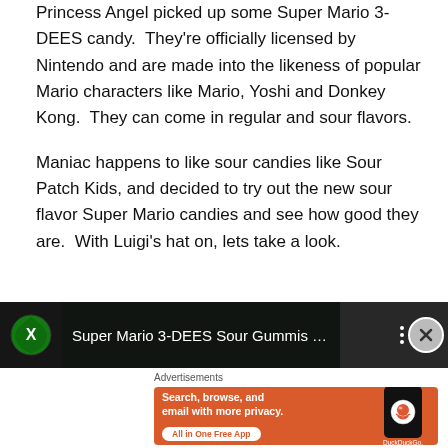Princess Angel picked up some Super Mario 3-DEES candy. They're officially licensed by Nintendo and are made into the likeness of popular Mario characters like Mario, Yoshi and Donkey Kong. They can come in regular and sour flavors.
Maniac happens to like sour candies like Sour Patch Kids, and decided to try out the new sour flavor Super Mario candies and see how good they are. With Luigi's hat on, lets take a look.
[Figure (screenshot): Video player bar showing 'Super Mario 3-DEES Sour Gummis ...' with Xbox-style icon on left and three-dot menu on right, with close button overlay]
Advertisements
[Figure (screenshot): DuckDuckGo advertisement banner on orange background: 'Search, browse, and email with more privacy. All in One Free App' with phone showing DuckDuckGo logo]